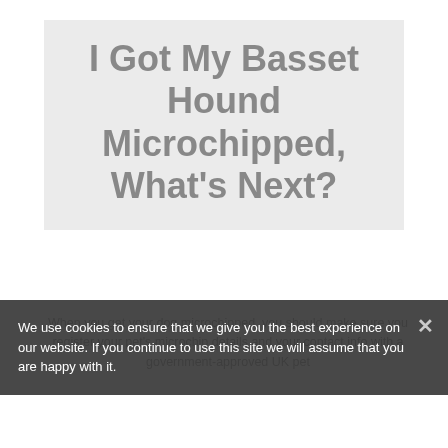I Got My Basset Hound Microchipped, What's Next?
When you get your dog microchipped, you should make sure you register your pet's microchip details and your contact info with a government-approved UK pet
We use cookies to ensure that we give you the best experience on our website. If you continue to use this site we will assume that you are happy with it.